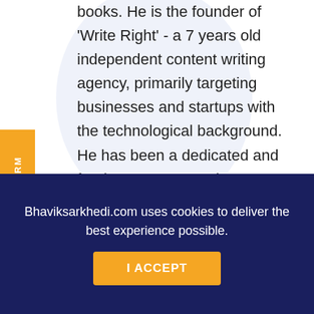books. He is the founder of 'Write Right' - a 7 years old independent content writing agency, primarily targeting businesses and startups with the technological background. He has been a dedicated and freelance content writer to Entrepreneur India Magazine, HuffingtonPost, Yourstory and 15 other reputed blogs
In Socials:
Bhaviksarkhedi.com uses cookies to deliver the best experience possible.
I ACCEPT